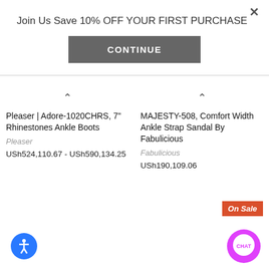Join Us Save 10% OFF YOUR FIRST PURCHASE
CONTINUE
Pleaser | Adore-1020CHRS, 7" Rhinestones Ankle Boots
Pleaser
USh524,110.67 - USh590,134.25
MAJESTY-508, Comfort Width Ankle Strap Sandal By Fabulicious
Fabulicious
USh190,109.06
On Sale
[Figure (illustration): Blue circle accessibility icon with white person figure]
[Figure (illustration): Magenta chat bubble circle with CHAT text]